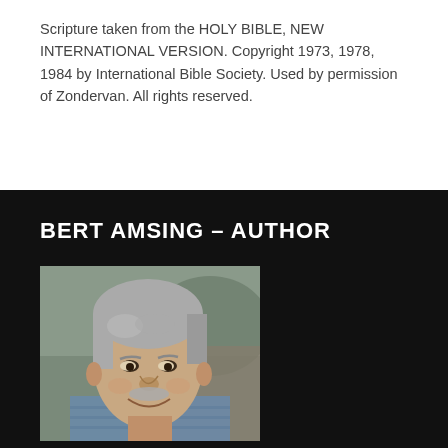Scripture taken from the HOLY BIBLE, NEW INTERNATIONAL VERSION. Copyright 1973, 1978, 1984 by International Bible Society. Used by permission of Zondervan. All rights reserved.
BERT AMSING – AUTHOR
[Figure (photo): Headshot photo of Bert Amsing, an older man with gray hair and a gray mustache, smiling, wearing a light blue plaid shirt, photographed against a blurred outdoor background.]